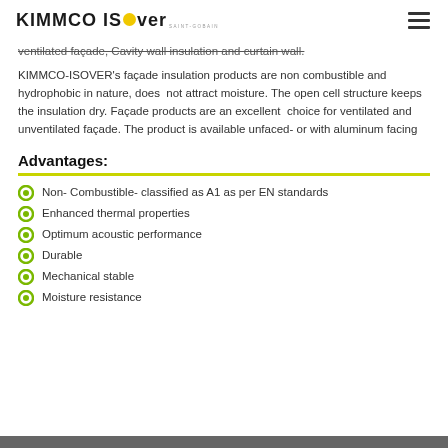KIMMCO ISOVER SAINT-GOBAIN
ventilated façade, Cavity wall insulation and curtain wall.
KIMMCO-ISOVER's façade insulation products are non combustible and hydrophobic in nature, does  not attract moisture. The open cell structure keeps the insulation dry. Façade products are an excellent  choice for ventilated and unventilated façade. The product is available unfaced- or with aluminum facing
Advantages:
Non- Combustible- classified as A1 as per EN standards
Enhanced thermal properties
Optimum acoustic performance
Durable
Mechanical stable
Moisture resistance